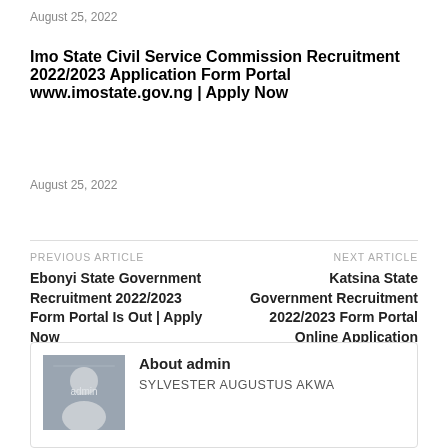August 25, 2022
Imo State Civil Service Commission Recruitment 2022/2023 Application Form Portal www.imostate.gov.ng | Apply Now
August 25, 2022
PREVIOUS ARTICLE
Ebonyi State Government Recruitment 2022/2023 Form Portal Is Out | Apply Now
NEXT ARTICLE
Katsina State Government Recruitment 2022/2023 Form Portal Online Application
About admin
SYLVESTER AUGUSTUS AKWA